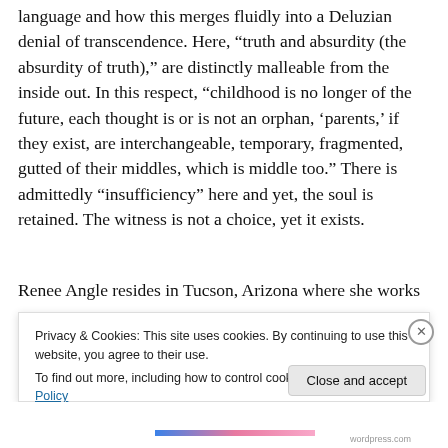language and how this merges fluidly into a Deluzian denial of transcendence. Here, “truth and absurdity (the absurdity of truth),” are distinctly malleable from the inside out. In this respect, “childhood is no longer of the future, each thought is or is not an orphan, ‘parents,’ if they exist, are interchangeable, temporary, fragmented, gutted of their middles, which is middle too.” There is admittedly “insufficiency” here and yet, the soul is retained. The witness is not a choice, yet it exists.
Renee Angle resides in Tucson, Arizona where she works for The University of Arizona Poetry Center. Her poems...
Privacy & Cookies: This site uses cookies. By continuing to use this website, you agree to their use.
To find out more, including how to control cookies, see here: Cookie Policy